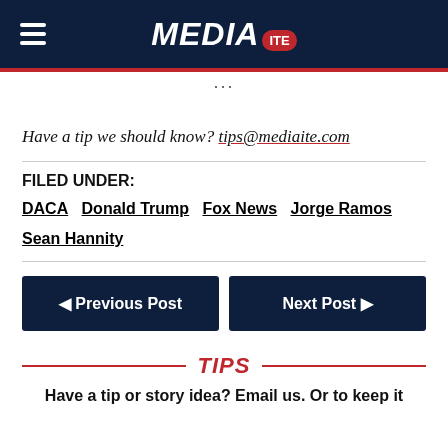MEDIAITE
Have a tip we should know? tips@mediaite.com
FILED UNDER:
DACA
Donald Trump
Fox News
Jorge Ramos
Sean Hannity
Previous Post
Next Post
TIPS
Have a tip or story idea? Email us. Or to keep it